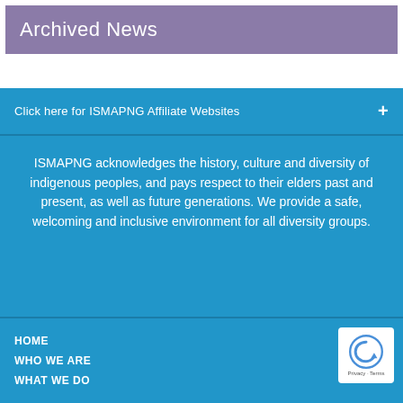Archived News
Click here for ISMAPNG Affiliate Websites
ISMAPNG acknowledges the history, culture and diversity of indigenous peoples, and pays respect to their elders past and present, as well as future generations. We provide a safe, welcoming and inclusive environment for all diversity groups.
HOME
WHO WE ARE
WHAT WE DO